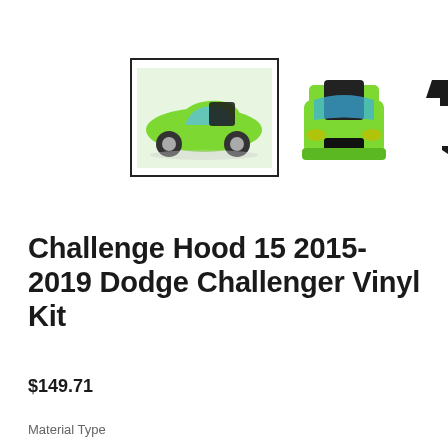[Figure (photo): Three product images: main thumbnail (selected, with border) showing green Dodge Challenger side view with black hood stripe, second thumbnail showing front view of green Dodge Challenger with black hood stripe, third thumbnail showing black vinyl decal cutout in hood stripe shape]
Challenge Hood 15 2015-2019 Dodge Challenger Vinyl Kit
$149.71
Material Type